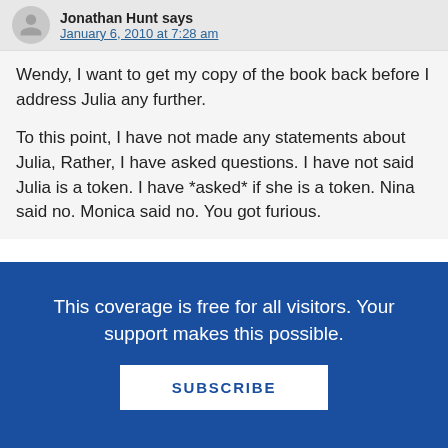Jonathan Hunt says
January 6, 2010 at 7:28 am
Wendy, I want to get my copy of the book back before I address Julia any further.
To this point, I have not made any statements about Julia, Rather, I have asked questions. I have not said Julia is a token. I have *asked* if she is a token. Nina said no. Monica said no. You got furious.
a teacher says
This coverage is free for all visitors. Your support makes this possible.
SUBSCRIBE